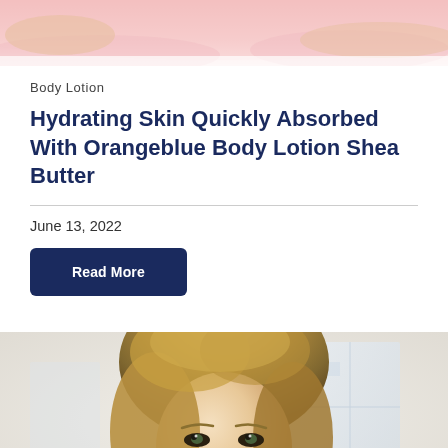[Figure (photo): Top cropped photo showing a person with pink/rosy tones, partially visible]
Body Lotion
Hydrating Skin Quickly Absorbed With Orangeblue Body Lotion Shea Butter
June 13, 2022
Read More
[Figure (photo): Photo of a blonde woman looking at the camera, with a bright window background, applying or touching her face]